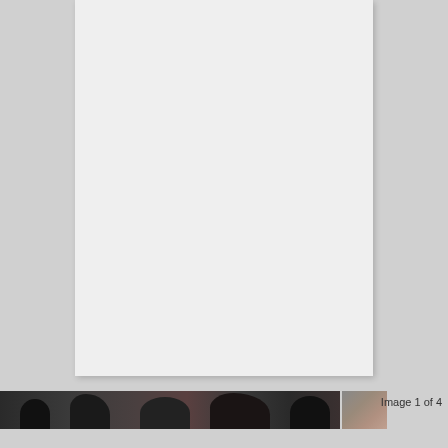[Figure (photo): A mostly blank/white document page shown against a grey background, with a partial view of a photo strip at the bottom showing silhouetted figures and a thumbnail image, labeled 'Image 1 of 4']
Image 1 of 4